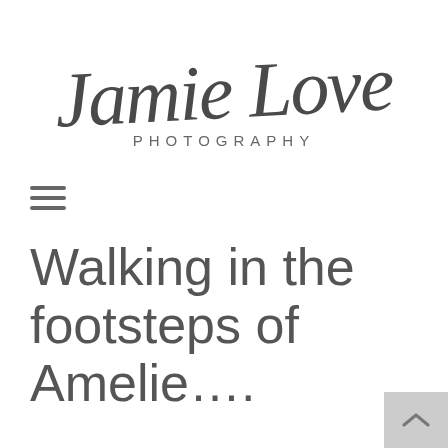[Figure (logo): Jamie Love Photography handwritten script logo with 'PHOTOGRAPHY' in spaced capitals below]
[Figure (other): Hamburger menu icon — three horizontal lines]
Walking in the footsteps of Amelie….
A b i t a b o u t